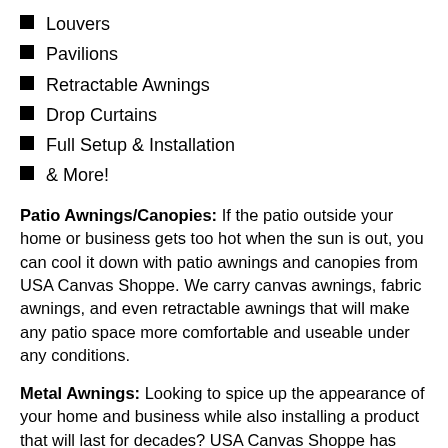Louvers
Pavilions
Retractable Awnings
Drop Curtains
Full Setup & Installation
& More!
Patio Awnings/Canopies: If the patio outside your home or business gets too hot when the sun is out, you can cool it down with patio awnings and canopies from USA Canvas Shoppe. We carry canvas awnings, fabric awnings, and even retractable awnings that will make any patio space more comfortable and useable under any conditions.
Metal Awnings: Looking to spice up the appearance of your home and business while also installing a product that will last for decades? USA Canvas Shoppe has metal awnings that can stand up to rain, hail, and more while protecting entryways, patio spaces, and more.